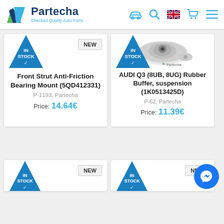Partecha – Checked Quality Auto Parts
[Figure (screenshot): Product card 1: Front Strut Anti-Friction Bearing Mount (5QD412331), P-1193 Partecha, Price: 14.64€, IN STOCK, NEW badge, no product image shown]
[Figure (photo): Product card 2: AUDI Q3 (8UB, 8UG) Rubber Buffer, suspension (1K0513425D), P-62 Partecha, Price: 11.39€, IN STOCK, NEW badge, photo of silver metal suspension rubber buffer]
[Figure (screenshot): Partial product card 3 (bottom left): IN STOCK badge, NEW label visible]
[Figure (screenshot): Partial product card 4 (bottom right): IN STOCK badge, NEW label partially visible, Messenger chat button overlay]